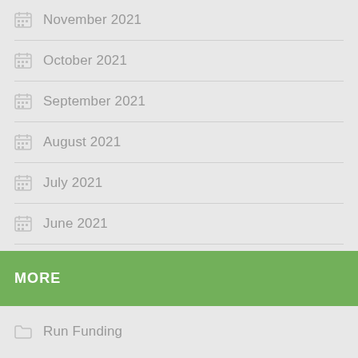November 2021
October 2021
September 2021
August 2021
July 2021
June 2021
MORE
Run Funding